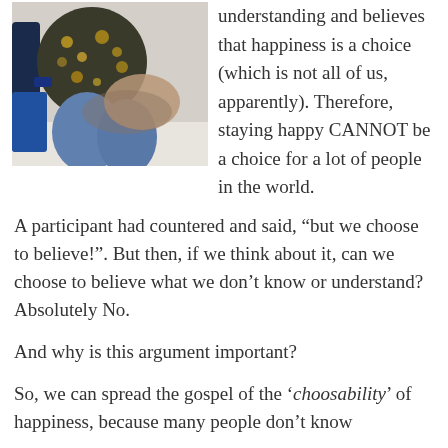[Figure (photo): A person sitting in a chair wearing a floral/patterned jacket and jeans, photographed from a low angle in what appears to be an indoor setting.]
understanding and believes that happiness is a choice (which is not all of us, apparently). Therefore, staying happy CANNOT be a choice for a lot of people in the world.
A participant had countered and said, “but we choose to believe!”. But then, if we think about it, can we choose to believe what we don’t know or understand? Absolutely No.
And why is this argument important?
So, we can spread the gospel of the ‘choosability’ of happiness, because many people don’t know...